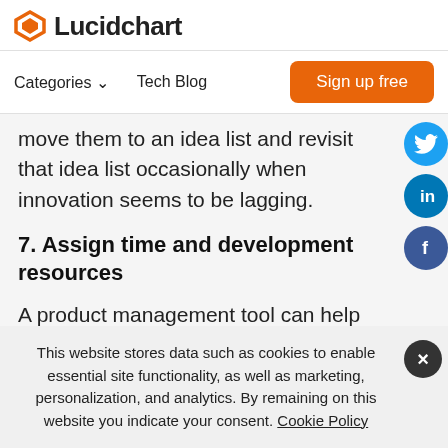Lucidchart
Categories  Tech Blog  Sign up free
move them to an idea list and revisit that idea list occasionally when innovation seems to be lagging.
7. Assign time and development resources
A product management tool can help greatly with this, as it’s easy to see
This website stores data such as cookies to enable essential site functionality, as well as marketing, personalization, and analytics. By remaining on this website you indicate your consent. Cookie Policy